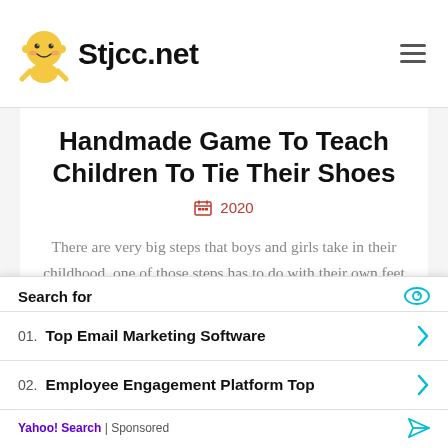Stjcc.net
Handmade Game To Teach Children To Tie Their Shoes
2020
There are very big steps that boys and girls take in their childhood, one of those steps has to do with their own feet and shoes, can you guess which one it is? Yes, tie your shoelaces. That is why I propose a handmade game, which you can easily make at home, to teach children to tie their shoes
Search for
01. Top Email Marketing Software
02. Employee Engagement Platform Top
Yahoo! Search | Sponsored